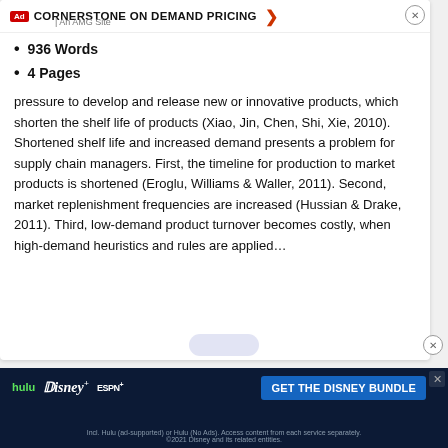Demand-based Pricing
CORNERSTONE ON DEMAND PRICING | An AMG Site
936 Words
4 Pages
pressure to develop and release new or innovative products, which shorten the shelf life of products (Xiao, Jin, Chen, Shi, Xie, 2010). Shortened shelf life and increased demand presents a problem for supply chain managers. First, the timeline for production to market products is shortened (Eroglu, Williams & Waller, 2011). Second, market replenishment frequencies are increased (Hussian & Drake, 2011). Third, low-demand product turnover becomes costly, when high-demand heuristics and rules are applied…
[Figure (advertisement): Disney Bundle advertisement banner with Hulu, Disney+, ESPN+ logos and 'GET THE DISNEY BUNDLE' button]